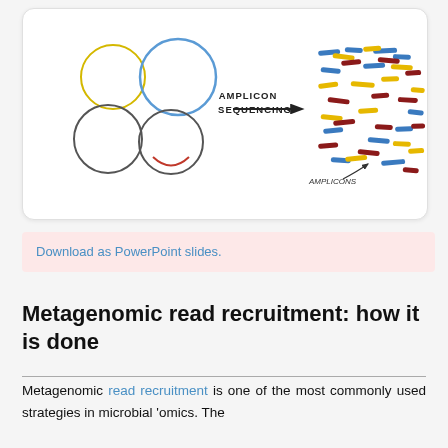[Figure (illustration): Diagram showing circles representing microbial samples on the left, an arrow labeled 'AMPLICON SEQUENCING' in the center, and colored dashes (blue, yellow, dark red) representing amplicons/reads on the right. A label 'AMPLICONS' appears at the bottom right of the diagram.]
Download as PowerPoint slides.
Metagenomic read recruitment: how it is done
Metagenomic read recruitment is one of the most commonly used strategies in microbial 'omics. The